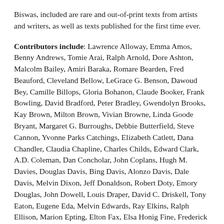Biswas, included are rare and out-of-print texts from artists and writers, as well as texts published for the first time ever.
Contributors include: Lawrence Alloway, Emma Amos, Benny Andrews, Tomie Arai, Ralph Arnold, Dore Ashton, Malcolm Bailey, Amiri Baraka, Romare Bearden, Fred Beauford, Cleveland Bellow, LeGrace G. Benson, Dawoud Bey, Camille Billops, Gloria Bohanon, Claude Booker, Frank Bowling, David Bradford, Peter Bradley, Gwendolyn Brooks, Kay Brown, Milton Brown, Vivian Browne, Linda Goode Bryant, Margaret G. Burroughs, Debbie Butterfield, Steve Cannon, Yvonne Parks Catchings, Elizabeth Catlett, Dana Chandler, Claudia Chapline, Charles Childs, Edward Clark, A.D. Coleman, Dan Concholar, John Coplans, Hugh M. Davies, Douglas Davis, Bing Davis, Alonzo Davis, Dale Davis, Melvin Dixon, Jeff Donaldson, Robert Doty, Emory Douglas, John Dowell, Louis Draper, David C. Driskell, Tony Eaton, Eugene Eda, Melvin Edwards, Ray Elkins, Ralph Ellison, Marion Epting, Elton Fax, Elsa Honig Fine, Frederick Fiske, Babatunde Folayemi, Clebert Ford, Edmund Barry Gaither, Addison Gayle, Henri Ghent, Ray Gibson, Sam Gilliam, Robert H. Glauber, Lynda Goode-Bryant, Allan M. Gordon, Earl G. Graves, Carroll Greene, Abdul Alkalimat, David Hammons, David Henderson, Napoleon Henderson, M.J.